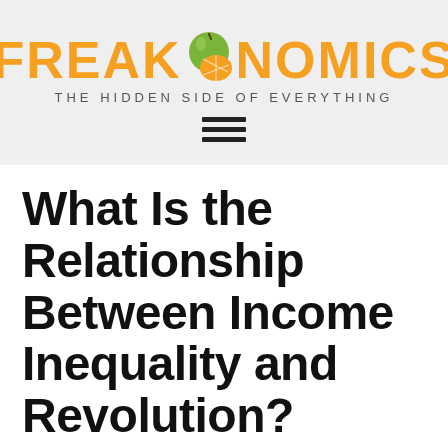[Figure (logo): Freakonomics logo with orange/apple fruit replacing the letter O, tagline 'THE HIDDEN SIDE OF EVERYTHING', and hamburger menu icon below]
What Is the Relationship Between Income Inequality and Revolution?